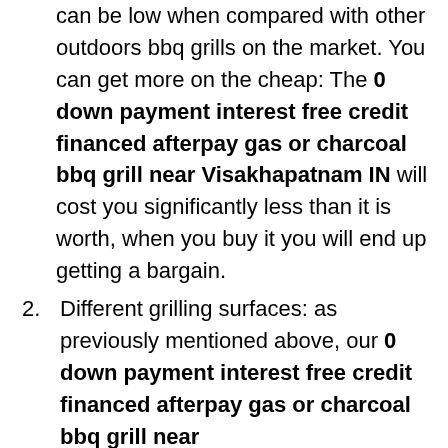can be low when compared with other outdoors bbq grills on the market. You can get more on the cheap: The 0 down payment interest free credit financed afterpay gas or charcoal bbq grill near Visakhapatnam IN will cost you significantly less than it is worth, when you buy it you will end up getting a bargain.
2. Different grilling surfaces: as previously mentioned above, our 0 down payment interest free credit financed afterpay gas or charcoal bbq grill near